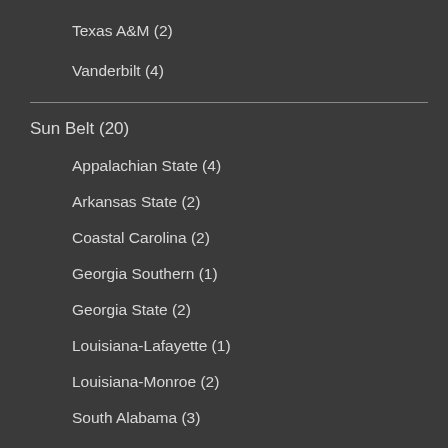Texas A&M (2)
Vanderbilt (4)
Sun Belt (20)
Appalachian State (4)
Arkansas State (2)
Coastal Carolina (2)
Georgia Southern (1)
Georgia State (2)
Louisiana-Lafayette (1)
Louisiana-Monroe (2)
South Alabama (3)